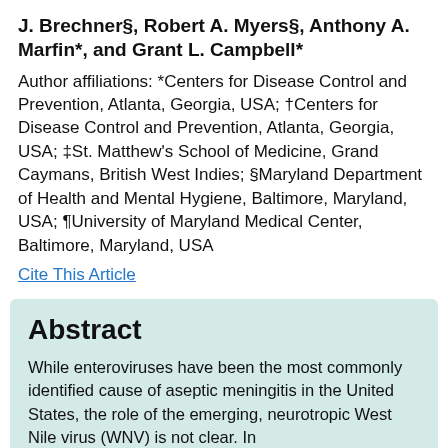J. Brechner§, Robert A. Myers§, Anthony A. Marfin*, and Grant L. Campbell*
Author affiliations: *Centers for Disease Control and Prevention, Atlanta, Georgia, USA; †Centers for Disease Control and Prevention, Atlanta, Georgia, USA; ‡St. Matthew's School of Medicine, Grand Caymans, British West Indies; §Maryland Department of Health and Mental Hygiene, Baltimore, Maryland, USA; ¶University of Maryland Medical Center, Baltimore, Maryland, USA
Cite This Article
Abstract
While enteroviruses have been the most commonly identified cause of aseptic meningitis in the United States, the role of the emerging, neurotropic West Nile virus (WNV) is not clear. In